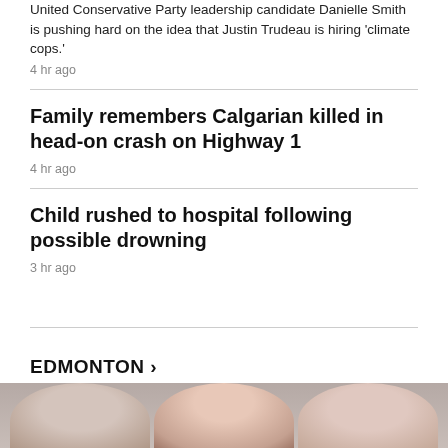United Conservative Party leadership candidate Danielle Smith is pushing hard on the idea that Justin Trudeau is hiring 'climate cops.'
4 hr ago
Family remembers Calgarian killed in head-on crash on Highway 1
4 hr ago
Child rushed to hospital following possible drowning
3 hr ago
EDMONTON >
[Figure (photo): Photo strip showing a person's face at bottom of page]